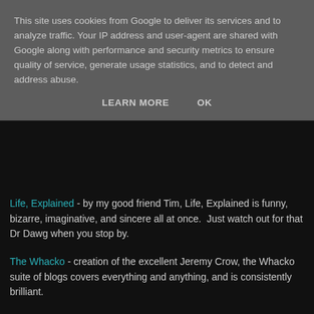This site uses cookies from Google to deliver its services and to analyze traffic. Your IP address and user-agent are shared with Google along with performance and security metrics to ensure quality of service, generate usage statistics, and to detect and address abuse.
LEARN MORE    OK
Life, Explained - by my good friend Tim, Life, Explained is funny, bizarre, imaginative, and sincere all at once.  Just watch out for that Dr Dawg when you stop by.
The Whacko - creation of the excellent Jeremy Crow, the Whacko suite of blogs covers everything and anything, and is consistently brilliant.